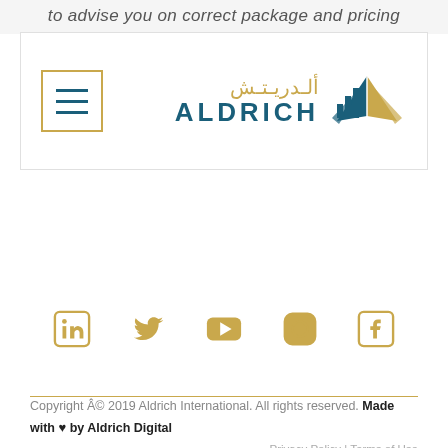to advise you on correct package and pricing
[Figure (logo): Aldrich International logo with hamburger menu icon on left and Arabic text 'الدريتش' with ALDRICH text and book icon on right]
[Figure (other): Social media icons row: LinkedIn, Twitter, YouTube, Instagram, Facebook — all in gold color]
Copyright © 2019 Aldrich International. All rights reserved. Made with ♥ by Aldrich Digital  Privacy Policy | Terms of Use